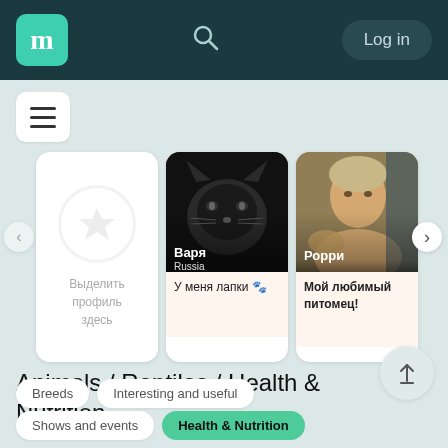m  [search icon]  Log in
[Figure (screenshot): Hamburger menu icon button (three horizontal lines) on white rounded square]
[Figure (photo): First card: Featured profile placeholder with star circle and text 'Выделить профиль здесь']
[Figure (photo): Second card: Варя from Russia, black cat close-up photo, caption 'У меня лапки 🐾']
[Figure (photo): Third card: Рорри, man with pet selfie, caption 'Мой любимый питомец!']
Animals / Reptiles / Health & Nutrition
Breeds
Interesting and useful
Shows and events
Health & Nutrition